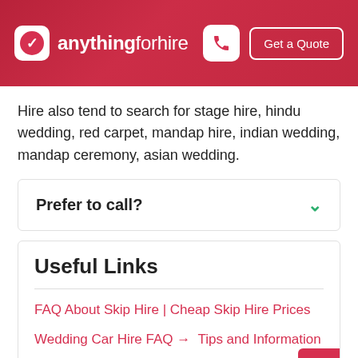anythingforhire — Get a Quote
Hire also tend to search for stage hire, hindu wedding, red carpet, mandap hire, indian wedding, mandap ceremony, asian wedding.
Prefer to call?
Useful Links
FAQ About Skip Hire | Cheap Skip Hire Prices
Wedding Car Hire FAQ → Tips and Information
Indian hire...